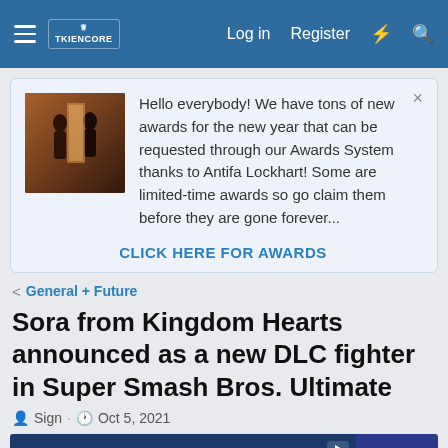Navigation bar with hamburger menu, logo, Log in, Register, lightning icon, search icon
Hello everybody! We have tons of new awards for the new year that can be requested through our Awards System thanks to Antifa Lockhart! Some are limited-time awards so go claim them before they are gone forever...
CLICK HERE FOR AWARDS
< General + Future
Sora from Kingdom Hearts announced as a new DLC fighter in Super Smash Bros. Ultimate
Sign · Oct 5, 2021
[Figure (screenshot): Wharton Executive Education advertisement banner]